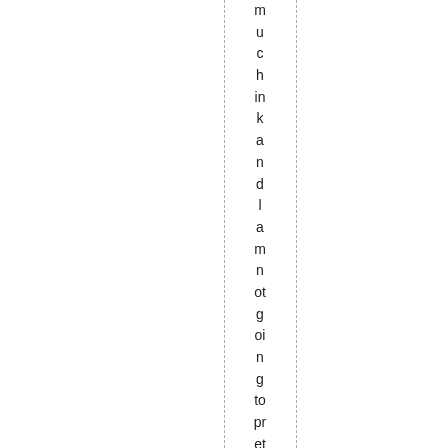m u c h in k a n d l a m n ot g oi n g to pr et e n d e x p er tis e; pr